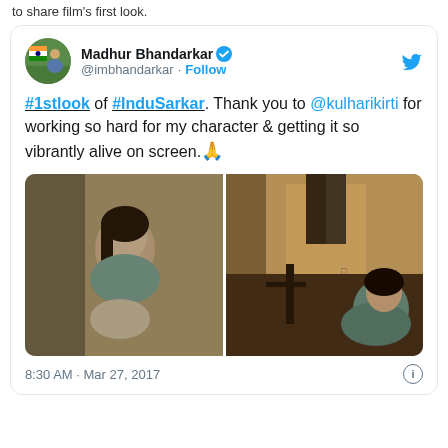to share film's first look.
[Figure (screenshot): Tweet by Madhur Bhandarkar (@imbhandarkar) with verified badge and Follow button. Tweet text: '#1stlook of #InduSarkar. Thank you to @kulharikirti for working so hard for my character & getting it so vibrantly alive on screen. 🙏'. Contains two movie still images of a woman in different scenes. Timestamp: 8:30 AM · Mar 27, 2017.]